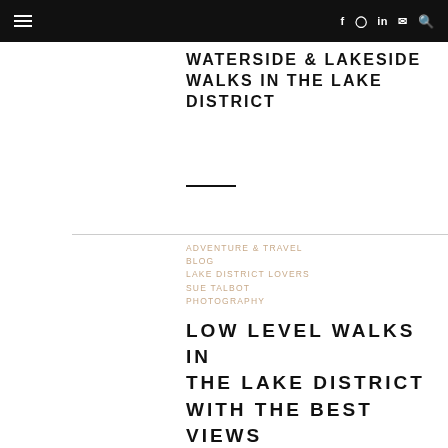Navigation bar with hamburger menu and social icons (f, Instagram, in, mail, search)
WATERSIDE & LAKESIDE WALKS IN THE LAKE DISTRICT
ADVENTURE & TRAVEL BLOG
LAKE DISTRICT LOVERS
SUE TALBOT PHOTOGRAPHY
LOW LEVEL WALKS IN THE LAKE DISTRICT WITH THE BEST VIEWS